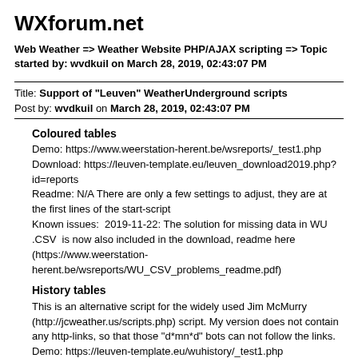WXforum.net
Web Weather => Weather Website PHP/AJAX scripting => Topic started by: wvdkuil on March 28, 2019, 02:43:07 PM
Title: Support of "Leuven" WeatherUnderground scripts
Post by: wvdkuil on March 28, 2019, 02:43:07 PM
Coloured tables
Demo: https://www.weerstation-herent.be/wsreports/_test1.php
Download: https://leuven-template.eu/leuven_download2019.php?id=reports
Readme: N/A There are only a few settings to adjust, they are at the first lines of the start-script
Known issues:  2019-11-22: The solution for missing data in WU .CSV  is now also included in the download, readme here (https://www.weerstation-herent.be/wsreports/WU_CSV_problems_readme.pdf)
History tables
This is an alternative script for the widely used Jim McMurry (http://jcweather.us/scripts.php) script. My version does not contain any http-links, so that those "d*mn*d" bots can not follow the links.
Demo: https://leuven-template.eu/wuhistory/_test1.php
Download: https://leuven-template.eu/leuven_download2019.php?id=history